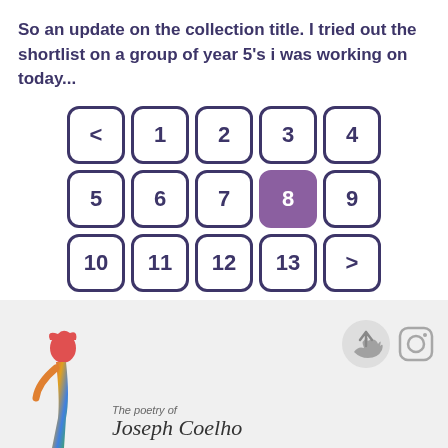So an update on the collection title. I tried out the shortlist on a group of year 5's i was working on today...
[Figure (other): A pagination widget showing numbered buttons 1-13 arranged in a 5x3 grid, with < and > navigation arrows, and button 8 highlighted in purple/violet.]
[Figure (logo): Footer area with a rainbow-colored figure illustration on the left, a cursive signature reading 'The poetry of Joseph Coelho', and social media icons (Twitter, Instagram) on the right.]